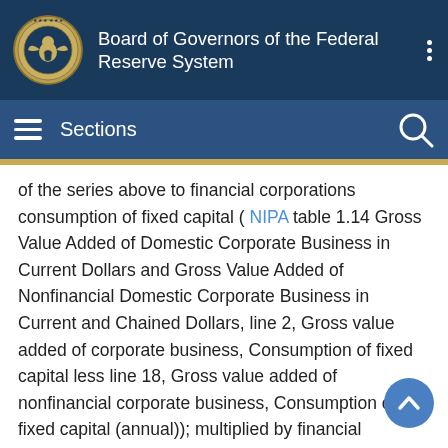Board of Governors of the Federal Reserve System
Sections
of the series above to financial corporations consumption of fixed capital ( NIPA table 1.14 Gross Value Added of Domestic Corporate Business in Current Dollars and Gross Value Added of Nonfinancial Domestic Corporate Business in Current and Chained Dollars, line 2, Gross value added of corporate business, Consumption of fixed capital less line 18, Gross value added of nonfinancial corporate business, Consumption of fixed capital (annual)); multiplied by financial corporations consumption of fixed capital, defined above (quarterly). Unadjusted transactions are calculated as transactions at a seasonally adjusted annual rate divided by 4. Series has no levels.